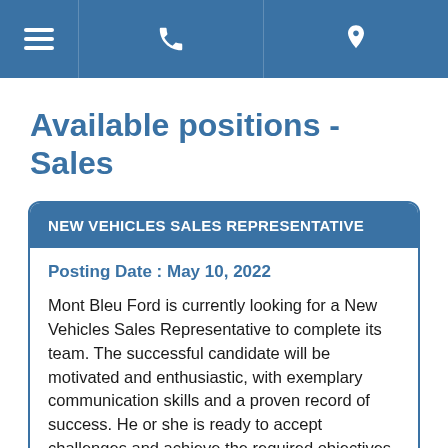Navigation bar with menu, phone, and location icons
Available positions - Sales
NEW VEHICLES SALES REPRESENTATIVE
Posting Date : May 10, 2022
Mont Bleu Ford is currently looking for a New Vehicles Sales Representative to complete its team. The successful candidate will be motivated and enthusiastic, with exemplary communication skills and a proven record of success. He or she is ready to accept challenges and achieve the required objectives. He or she must be a good communicator and know how to